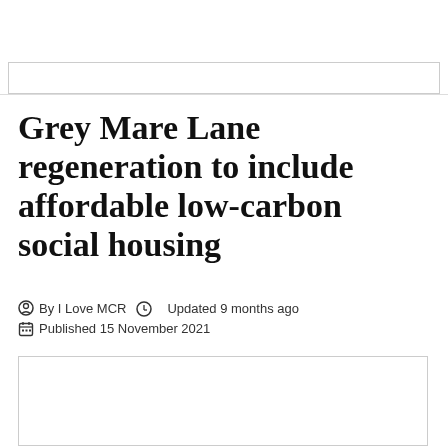Grey Mare Lane regeneration to include affordable low-carbon social housing
By I Love MCR   Updated 9 months ago   Published 15 November 2021
[Figure (photo): Image placeholder box for article photo]